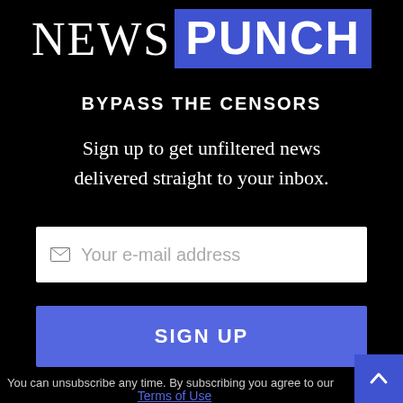[Figure (logo): NewsPunch logo: 'NEWS' in white serif text next to 'PUNCH' in white bold sans-serif on a blue rectangle background]
BYPASS THE CENSORS
Sign up to get unfiltered news delivered straight to your inbox.
[Figure (screenshot): Email input field with envelope icon and placeholder text 'Your e-mail address']
[Figure (screenshot): Blue SIGN UP button]
You can unsubscribe any time. By subscribing you agree to our Terms of Use